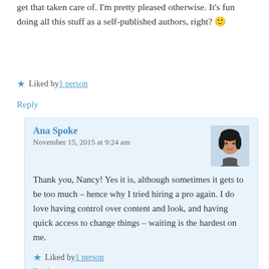get that taken care of. I'm pretty pleased otherwise. It's fun doing all this stuff as a self-published authors, right? 🙂
★ Liked by 1 person
Reply
Ana Spoke
November 15, 2015 at 9:24 am
Thank you, Nancy! Yes it is, although sometimes it gets to be too much – hence why I tried hiring a pro again. I do love having control over content and look, and having quick access to change things – waiting is the hardest on me.
★ Liked by 1 person
Reply